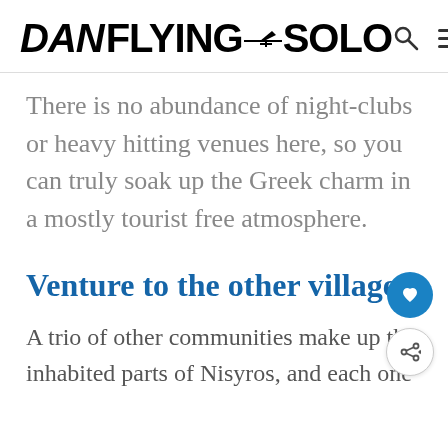DAN FLYING SOLO
There is no abundance of night-clubs or heavy hitting venues here, so you can truly soak up the Greek charm in a mostly tourist free atmosphere.
Venture to the other villages
A trio of other communities make up the inhabited parts of Nisyros, and each one